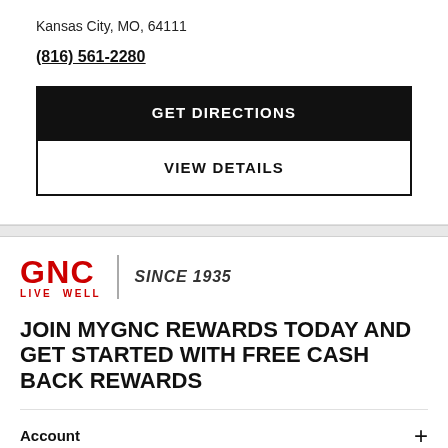Kansas City, MO, 64111
(816) 561-2280
GET DIRECTIONS
VIEW DETAILS
[Figure (logo): GNC Live Well logo with 'SINCE 1935' tagline]
JOIN MYGNC REWARDS TODAY AND GET STARTED WITH FREE CASH BACK REWARDS
Account